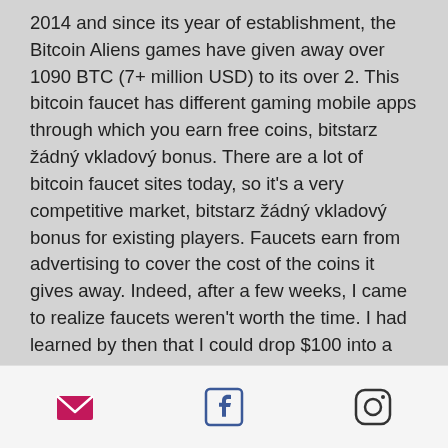2014 and since its year of establishment, the Bitcoin Aliens games have given away over 1090 BTC (7+ million USD) to its over 2. This bitcoin faucet has different gaming mobile apps through which you earn free coins, bitstarz žádný vkladový bonus. There are a lot of bitcoin faucet sites today, so it's a very competitive market, bitstarz žádný vkladový bonus for existing players. Faucets earn from advertising to cover the cost of the coins it gives away. Indeed, after a few weeks, I came to realize faucets weren't worth the time. I had learned by then that I could drop $100 into a Bitcoin ATM and get several lifetimes' worth of faucet earnings in one shot, bitstarz žádný vkladový bonus codes for existing users 2021. Therefore, it is worth to say that crypto faucets are a good method at the very beginning, if you are just
social icons: email, facebook, instagram